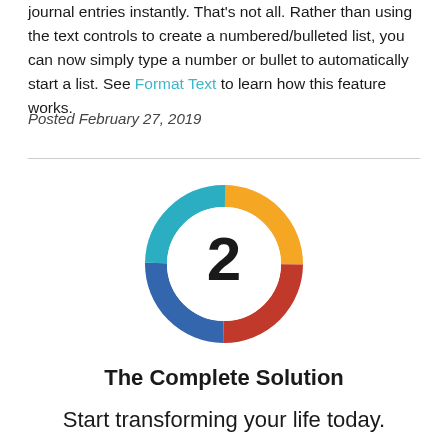journal entries instantly. That's not all. Rather than using the text controls to create a numbered/bulleted list, you can now simply type a number or bullet to automatically start a list. See Format Text to learn how this feature works.
Posted February 27, 2019
[Figure (donut-chart): A donut chart with a number '2' in the center, showing four colored segments: orange (top), red (right), blue (bottom), and teal (left/bottom-left).]
The Complete Solution
Start transforming your life today.